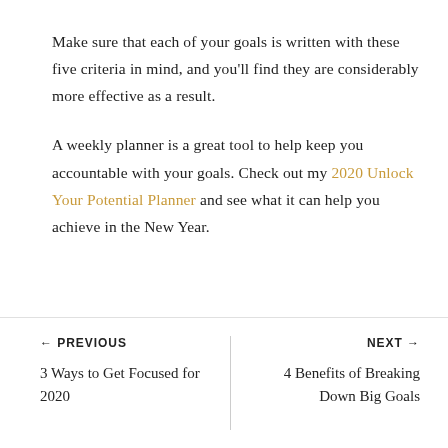Make sure that each of your goals is written with these five criteria in mind, and you'll find they are considerably more effective as a result.
A weekly planner is a great tool to help keep you accountable with your goals. Check out my 2020 Unlock Your Potential Planner and see what it can help you achieve in the New Year.
← PREVIOUS
3 Ways to Get Focused for 2020
NEXT →
4 Benefits of Breaking Down Big Goals